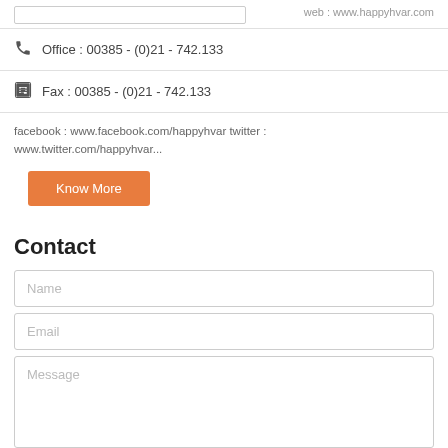web : www.happyhvar.com
Office : 00385 - (0)21 - 742.133
Fax : 00385 - (0)21 - 742.133
facebook : www.facebook.com/happyhvar twitter : www.twitter.com/happyhvar...
Know More
Contact
Name
Email
Message